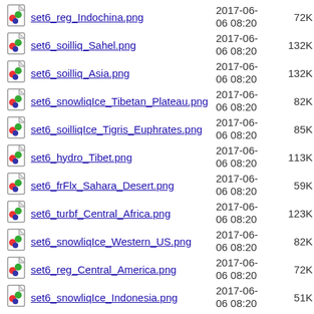set6_reg_Indochina.png  2017-06-06 08:20  72K
set6_soilliq_Sahel.png  2017-06-06 08:20  132K
set6_soilliq_Asia.png  2017-06-06 08:20  132K
set6_snowliqIce_Tibetan_Plateau.png  2017-06-06 08:20  82K
set6_soilliqIce_Tigris_Euphrates.png  2017-06-06 08:20  85K
set6_hydro_Tibet.png  2017-06-06 08:20  113K
set6_frFlx_Sahara_Desert.png  2017-06-06 08:20  59K
set6_turbf_Central_Africa.png  2017-06-06 08:20  123K
set6_snowliqIce_Western_US.png  2017-06-06 08:20  82K
set6_reg_Central_America.png  2017-06-06 08:20  72K
set6_snowliqIce_Indonesia.png  2017-06-06 08:20  51K